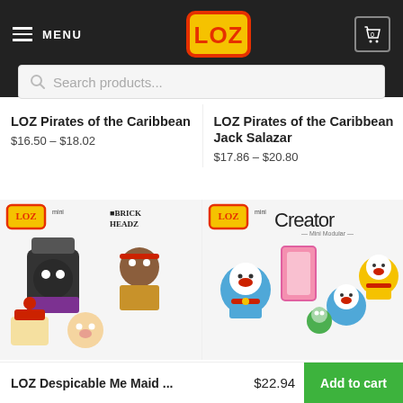MENU | LOZ | 0
Search products...
LOZ Pirates of the Caribbean
$16.50 – $18.02
LOZ Pirates of the Caribbean Jack Salazar
$17.86 – $20.80
[Figure (photo): LOZ mini BrickHeadz Pirates of the Caribbean figures including characters with hats and weapons]
[Figure (photo): LOZ mini Creator Mini Modular Doraemon character figures in blue with a pink door backdrop and yellow cat figure]
LOZ Despicable Me Maid ...
$22.94
Add to cart